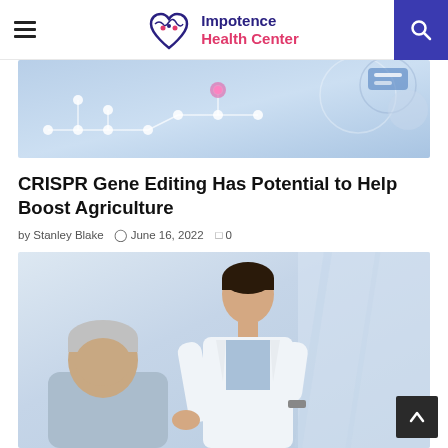Impotence Health Center
[Figure (photo): Technology/DNA circuit board graphic banner image with blue tones]
CRISPR Gene Editing Has Potential to Help Boost Agriculture
by Stanley Blake  June 16, 2022  0
[Figure (photo): Doctor in white coat consulting with elderly patient, medical office setting]